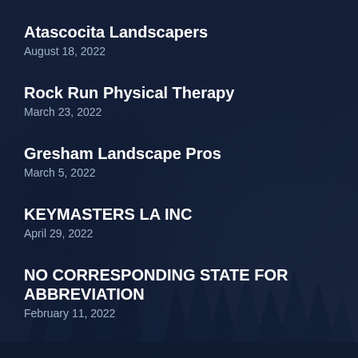Atascocita Landscapers
August 18, 2022
Rock Run Physical Therapy
March 23, 2022
Gresham Landscape Pros
March 5, 2022
KEYMASTERS LA INC
April 29, 2022
NO CORRESPONDING STATE FOR ABBREVIATION
February 11, 2022